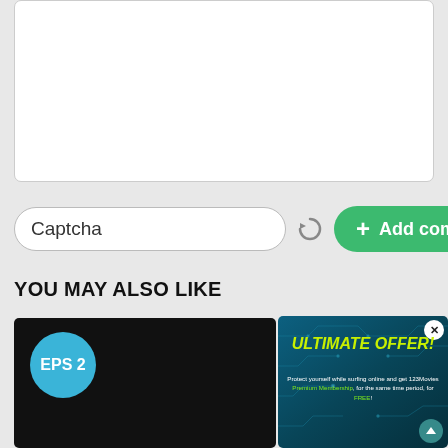[Figure (screenshot): White text input/textarea box for comment entry]
[Figure (screenshot): Captcha input field with refresh icon and green Add comment button]
YOU MAY ALSO LIKE
[Figure (screenshot): Video thumbnail with EPS 2 badge showing black background episode preview]
[Figure (infographic): Ad popup overlay with dark teal circuit board background showing ULTIMATE OFFER! headline in yellow-green italic bold text, body text 'Protect yourself while surfing online and get 123Movies Premium Membership, for the same time period, for FREE!' with close X button and scroll-up arrow button]